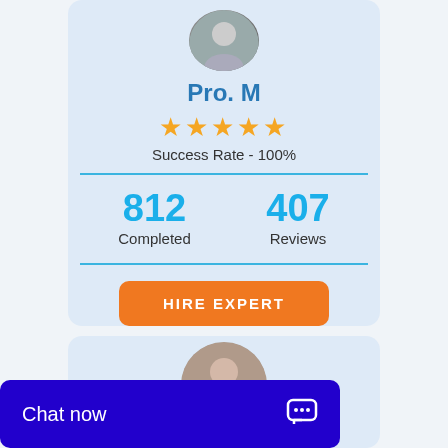[Figure (photo): Profile photo of a man in a suit, circular crop, top of first expert card]
Pro. M
★★★★★
Success Rate - 100%
812 Completed
407 Reviews
HIRE EXPERT
[Figure (photo): Profile photo of a woman with dark hair smiling, circular crop, top of second expert card]
Chat now